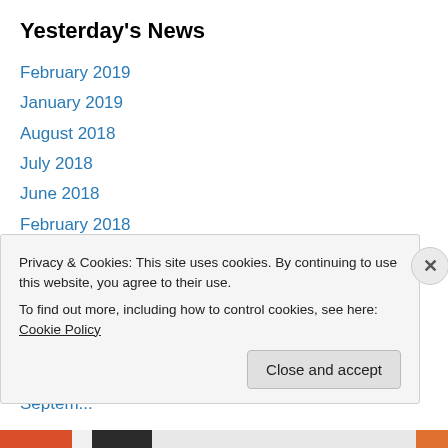Yesterday's News
February 2019
January 2019
August 2018
July 2018
June 2018
February 2018
August 2017
April 2017
February 2017
November 2016
October 2016
Privacy & Cookies: This site uses cookies. By continuing to use this website, you agree to their use. To find out more, including how to control cookies, see here: Cookie Policy
Close and accept